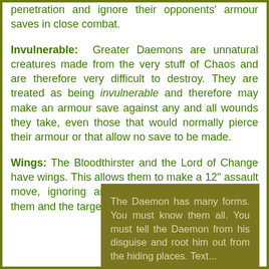penetration and ignore their opponents' armour saves in close combat.
Invulnerable: Greater Daemons are unnatural creatures made from the very stuff of Chaos and are therefore very difficult to destroy. They are treated as being invulnerable and therefore may make an armour save against any and all wounds they take, even those that would normally pierce their armour or that allow no save to be made.
Wings: The Bloodthirster and the Lord of Change have wings. This allows them to make a 12" assault move, ignoring any intervening terrain between them and the target.
The Daemon has many forms. You must know them all. You must tell the Daemon from his disguise and root him out from the hiding places. Text...